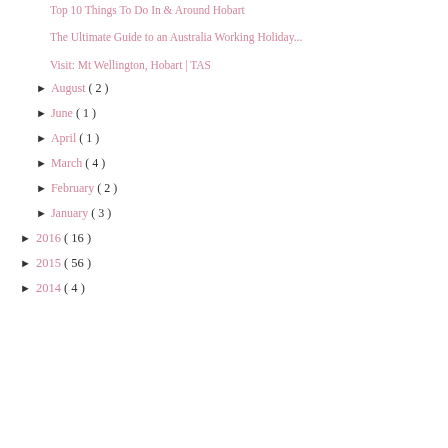Top 10 Things To Do In & Around Hobart
The Ultimate Guide to an Australia Working Holiday...
Visit: Mt Wellington, Hobart | TAS
► August ( 2 )
► June ( 1 )
► April ( 1 )
► March ( 4 )
► February ( 2 )
► January ( 3 )
► 2016 ( 16 )
► 2015 ( 56 )
► 2014 ( 4 )